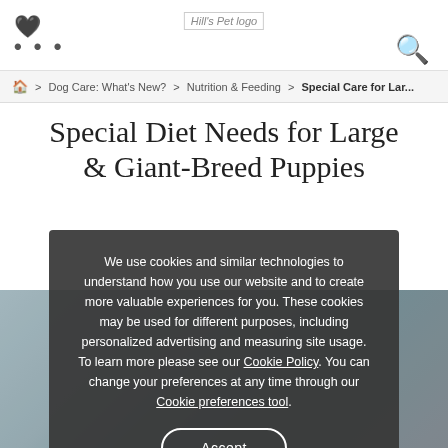Hill's Pet logo | navigation dots | search icon
Dog Care: What's New? > Nutrition & Feeding > Special Care for Lar...
Special Diet Needs for Large & Giant-Breed Puppies
[Figure (photo): A puppy held in a hand, blurred outdoor background]
We use cookies and similar technologies to understand how you use our website and to create more valuable experiences for you. These cookies may be used for different purposes, including personalized advertising and measuring site usage. To learn more please see our Cookie Policy. You can change your preferences at any time through our Cookie preferences tool.
Accept